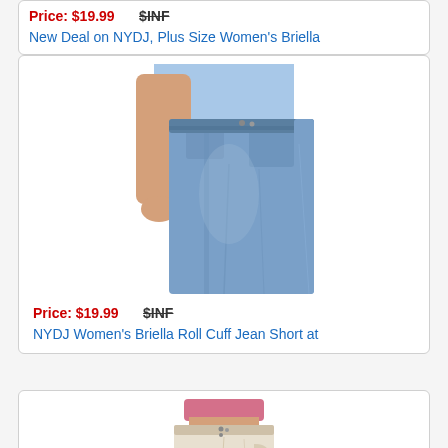Price: $19.99   $INF
New Deal on NYDJ, Plus Size Women's Briella
[Figure (photo): Close-up photo of a woman wearing blue denim jean shorts (NYDJ Briella Roll Cuff) showing waist and legs]
Price: $19.99   $INF
NYDJ Women's Briella Roll Cuff Jean Short at
[Figure (photo): Partial view of a woman wearing light/white denim shorts, showing waist area with pink top]